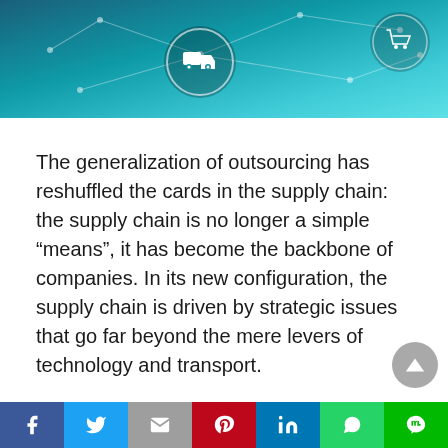[Figure (illustration): Header banner with teal/blue gradient background showing network connectivity lines and nodes with icons of a delivery truck and a shopping/package cart in white circular icons]
The generalization of outsourcing has reshuffled the cards in the supply chain: the supply chain is no longer a simple “means”, it has become the backbone of companies. In its new configuration, the supply chain is driven by strategic issues that go far beyond the mere levers of technology and transport.
Today, good supply chain management means being able to deliver the right product, to the right person, at the right time. While controlling costs
[Figure (infographic): Social sharing bar at the bottom with icons for Facebook, Twitter, Gmail/Email, Pinterest, LinkedIn, WhatsApp, and LINE]